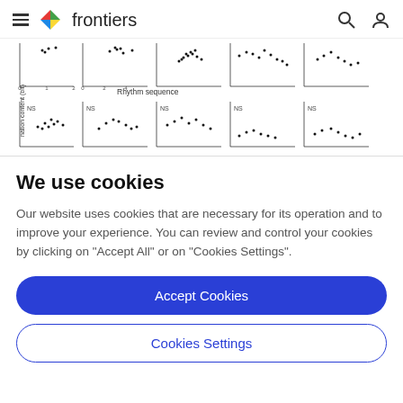frontiers
[Figure (continuous-plot): Scatter plots arranged in a 2-row, 5-column grid showing information content (bit) vs rhythm sequence. Top row shows labeled scatter plots; bottom row shows scatter plots labeled NS. Y-axis label reads 'nation content (bit)', x-axis label reads 'Rhythm sequence'.]
We use cookies
Our website uses cookies that are necessary for its operation and to improve your experience. You can review and control your cookies by clicking on "Accept All" or on "Cookies Settings".
Accept Cookies
Cookies Settings